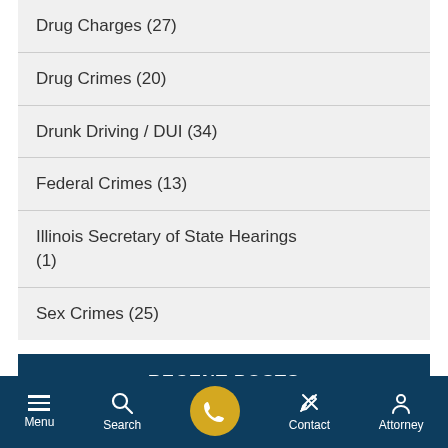Drug Charges (27)
Drug Crimes (20)
Drunk Driving / DUI (34)
Federal Crimes (13)
Illinois Secretary of State Hearings (1)
Sex Crimes (25)
RECENT POSTS
Should I Talk to The Police Without A Lawyer?
Menu | Search | (phone) | Contact | Attorney